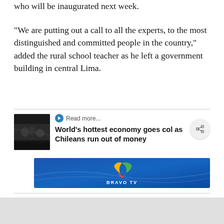who will be inaugurated next week.
"We are putting out a call to all the experts, to the most distinguished and committed people in the country," added the rural school teacher as he left a government building in central Lima.
Read more...
[Figure (photo): Thumbnail photo showing people in a dark interior setting]
World’s hottest economy goes col as Chileans run out of money
[Figure (logo): Bravo TV advertisement banner with colorful logo on blue background]